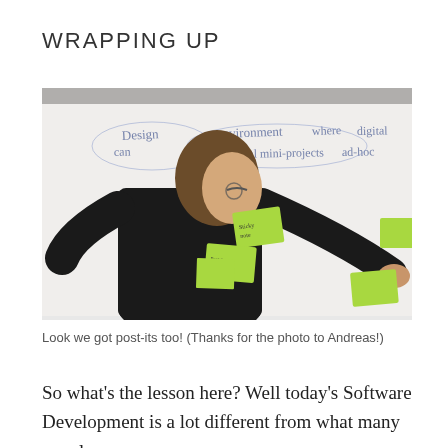WRAPPING UP
[Figure (photo): A man in a dark suit placing green post-it notes on a whiteboard. The whiteboard has handwritten text in blue ink reading words like 'Design', 'environment', 'where', 'digital', 'can', 'Social', 'mini-projects', 'ad-hoc'.]
Look we got post-its too! (Thanks for the photo to Andreas!)
So what's the lesson here? Well today's Software Development is a lot different from what many people